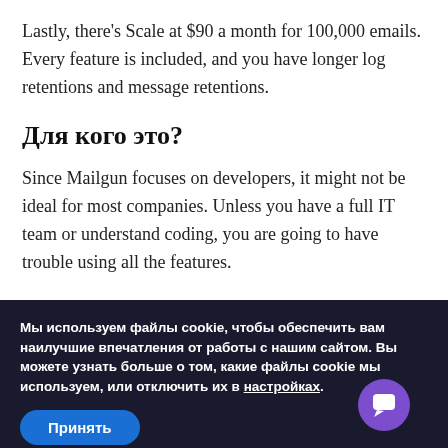Lastly, there’s Scale at $90 a month for 100,000 emails. Every feature is included, and you have longer log retentions and message retentions.
Для кого это?
Since Mailgun focuses on developers, it might not be ideal for most companies. Unless you have a full IT team or understand coding, you are going to have trouble using all the features.
Мы используем файлы cookie, чтобы обеспечить вам наилучшие впечатления от работы с нашим сайтом. Вы можете узнать больше о том, какие файлы cookie мы используем, или отключить их в настройках.